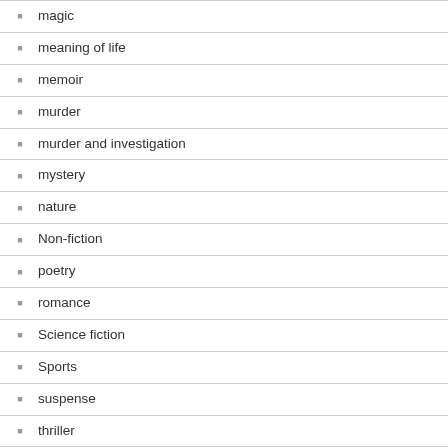magic
meaning of life
memoir
murder
murder and investigation
mystery
nature
Non-fiction
poetry
romance
Science fiction
Sports
suspense
thriller
Travel